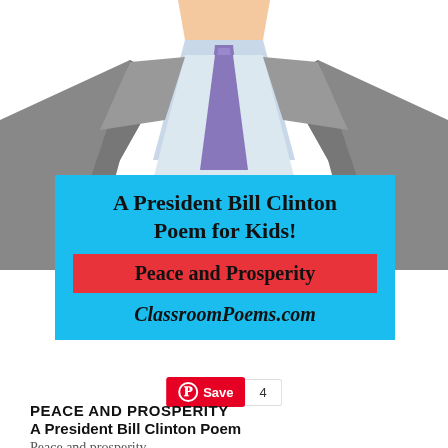[Figure (illustration): Cartoon illustration of a man in a grey suit with a light blue shirt and purple tie, cropped at the chest and head (no face fully visible), representing President Bill Clinton.]
A President Bill Clinton Poem for Kids!
Peace and Prosperity
ClassroomPoems.com
Save 4
PEACE AND PROSPERITY
A President Bill Clinton Poem
Peace and prosperity